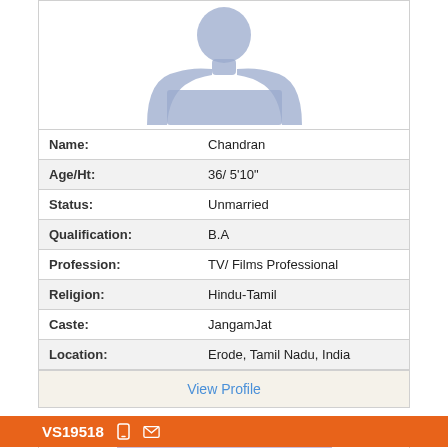[Figure (illustration): Blue silhouette placeholder image of a person (no photo)]
| Name: | Chandran |
| Age/Ht: | 36/ 5'10" |
| Status: | Unmarried |
| Qualification: | B.A |
| Profession: | TV/ Films Professional |
| Religion: | Hindu-Tamil |
| Caste: | JangamJat |
| Location: | Erode, Tamil Nadu, India |
View Profile
VS19518
[Figure (photo): Photo of a person against a purple/lavender background]